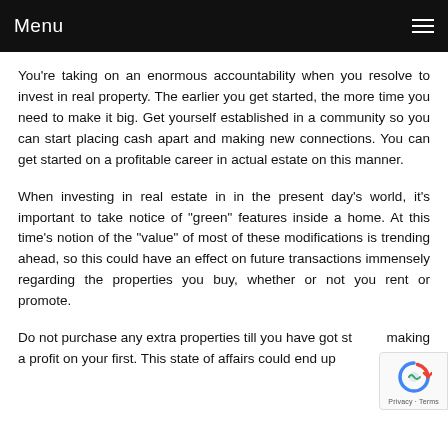Menu
You're taking on an enormous accountability when you resolve to invest in real property. The earlier you get started, the more time you need to make it big. Get yourself established in a community so you can start placing cash apart and making new connections. You can get started on a profitable career in actual estate on this manner.
When investing in real estate in in the present day's world, it's important to take notice of "green" features inside a home. At this time's notion of the "value" of most of these modifications is trending ahead, so this could have an effect on future transactions immensely regarding the properties you buy, whether or not you rent or promote.
Do not purchase any extra properties till you have got st... making a profit on your first. This state of affairs could end up